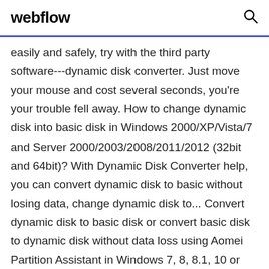webflow
easily and safely, try with the third party software---dynamic disk converter. Just move your mouse and cost several seconds, you're your trouble fell away. How to change dynamic disk into basic disk in Windows 2000/XP/Vista/7 and Server 2000/2003/2008/2011/2012 (32bit and 64bit)? With Dynamic Disk Converter help, you can convert dynamic disk to basic without losing data, change dynamic disk to... Convert dynamic disk to basic disk or convert basic disk to dynamic disk without data loss using Aomei Partition Assistant in Windows 7, 8, 8.1, 10 or Windows Server 2003, 2008 r2, 2011, 2012 r2, 2016 (32 & 64-bit). Change file systems